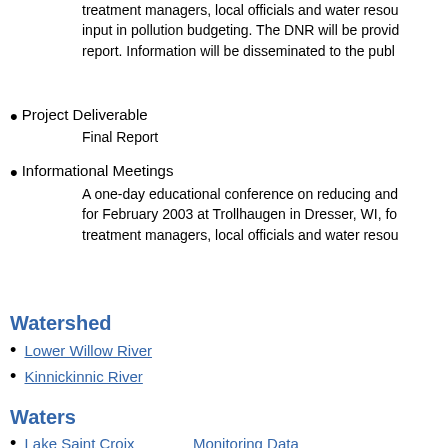treatment managers, local officials and water resources input in pollution budgeting. The DNR will be providing a report. Information will be disseminated to the public.
Project Deliverable
      Final Report
Informational Meetings
      A one-day educational conference on reducing and for February 2003 at Trollhaugen in Dresser, WI, fo treatment managers, local officials and water resources
Watershed
Lower Willow River
Kinnickinnic River
Waters
Lake Saint Croix    Monitoring Data
Lake Details
[Figure (logo): Wisconsin DNR logo with W and trees over water, labeled dnr.wi.gov]
The Official Internet site for the Wisconsin Department of Natural Resources
101 S. Webster Street . PO Box 7921 . Madison, Wisconsin 53707-7921 . 608.266.2621